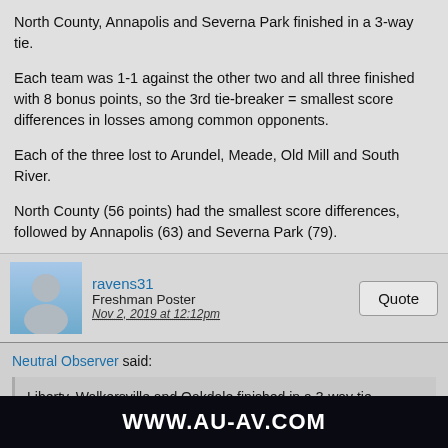North County, Annapolis and Severna Park finished in a 3-way tie.
Each team was 1-1 against the other two and all three finished with 8 bonus points, so the 3rd tie-breaker = smallest score differences in losses among common opponents.
Each of the three lost to Arundel, Meade, Old Mill and South River.
North County (56 points) had the smallest score differences, followed by Annapolis (63) and Severna Park (79).
ravens31
Freshman Poster
Nov 2, 2019 at 12:12pm
Neutral Observer said:
Liberty, Walkersville and Oakdale finished in a 3-way tie.
Unfortunately, the tie-breaking rules really are ambiguous and open to interpretation for this case.
WWW.AU-AV.COM